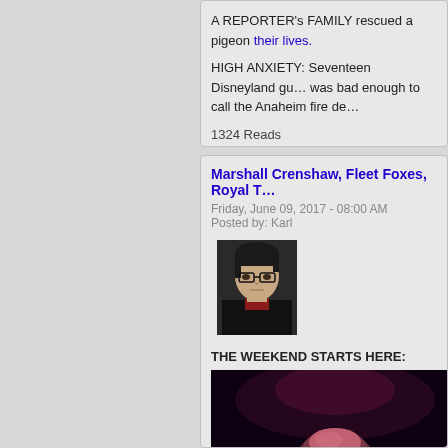A REPORTER's FAMILY rescued a pigeon their lives.
HIGH ANXIETY: Seventeen Disneyland gu... was bad enough to call the Anaheim fire de...
1324 Reads
Marshall Crenshaw, Fleet Foxes, Royal T...
Friday, June 09, 2017 - 08:00 AM
Posted by: Karl
[Figure (photo): Headshot of a man with dark hair and glasses wearing a black jacket and red shirt]
THE WEEKEND STARTS HERE:
[Figure (photo): Dark concert photo showing top of a person's head with pink/reddish lighting]